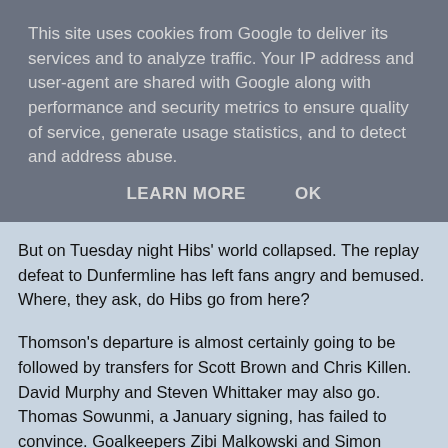This site uses cookies from Google to deliver its services and to analyze traffic. Your IP address and user-agent are shared with Google along with performance and security metrics to ensure quality of service, generate usage statistics, and to detect and address abuse.
LEARN MORE   OK
But on Tuesday night Hibs' world collapsed. The replay defeat to Dunfermline has left fans angry and bemused. Where, they ask, do Hibs go from here?
Thomson's departure is almost certainly going to be followed by transfers for Scott Brown and Chris Killen. David Murphy and Steven Whittaker may also go. Thomas Sowunmi, a January signing, has failed to convince. Goalkeepers Zibi Malkowski and Simon Brown are on their way out. Guillame Beuzelin is struggling for form and Ivan Sproule is increasingly exposed as a speed merchant without a football brain. Michael Stewart is on his way, along with Stephen Glass, and Shelton Martis may also be packing his bags.